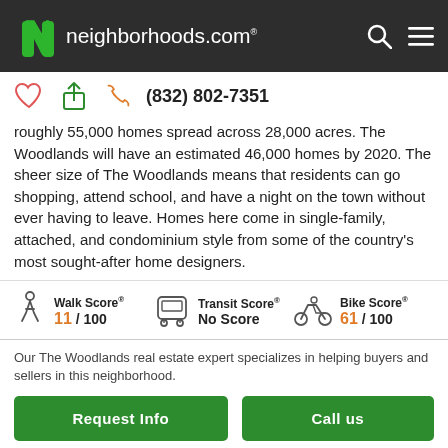neighborhoods.com
(832) 802-7351
roughly 55,000 homes spread across 28,000 acres. The Woodlands will have an estimated 46,000 homes by 2020. The sheer size of The Woodlands means that residents can go shopping, attend school, and have a night on the town without ever having to leave. Homes here come in single-family, attached, and condominium style from some of the country's most sought-after home designers.
Walk Score® 11 / 100  Transit Score® No Score  Bike Score® 61 / 100
Our The Woodlands real estate expert specializes in helping buyers and sellers in this neighborhood.
Request Info
Call us